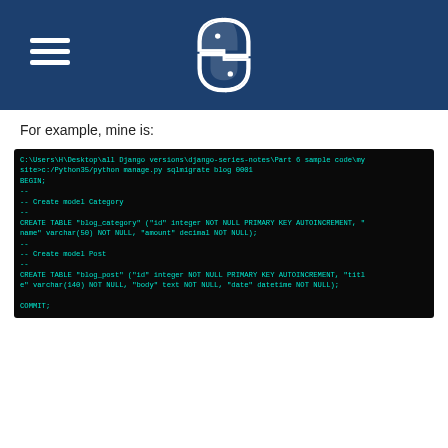[Figure (logo): Python logo (two snakes forming a circle) centered in a dark blue navigation bar with hamburger menu icon on the left]
For example, mine is:
[Figure (screenshot): Terminal/command prompt screenshot showing SQL migration output for Django blog app. Content: C:\Users\H\Desktop\all Django versions\django-series-notes\Part 6 sample code\my site>c:/Python35/python manage.py sqlmigrate blog 0001 BEGIN; -- -- Create model Category -- CREATE TABLE "blog_category" ("id" integer NOT NULL PRIMARY KEY AUTOINCREMENT, "name" varchar(50) NOT NULL, "amount" decimal NOT NULL); -- -- Create model Post -- CREATE TABLE "blog_post" ("id" integer NOT NULL PRIMARY KEY AUTOINCREMENT, "title" varchar(140) NOT NULL, "body" text NOT NULL, "date" datetime NOT NULL); COMMIT;]